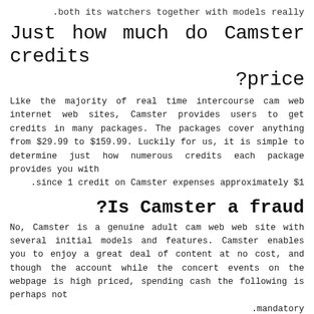.both its watchers together with models really
Just how much do Camster credits ?price
Like the majority of real time intercourse cam web internet web sites, Camster provides users to get credits in many packages. The packages cover anything from $29.99 to $159.99. Luckily for us, it is simple to determine just how numerous credits each package provides you with .since 1 credit on Camster expenses approximately $1
?Is Camster a fraud
No, Camster is a genuine adult cam web web site with several initial models and features. Camster enables you to enjoy a great deal of content at no cost, and though the account while the concert events on the webpage is high priced, spending cash the following is perhaps not .mandatory
Could I make use of Camster 100%